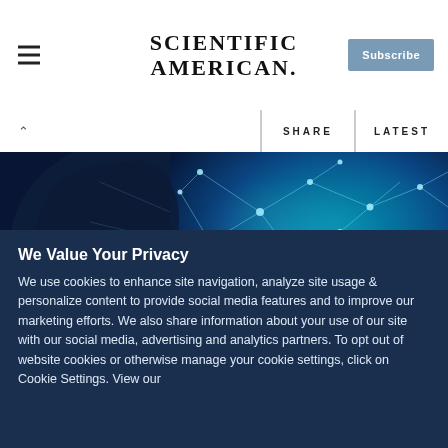SCIENTIFIC AMERICAN
[Figure (illustration): AI/neural network concept image: blue digital human head profile with glowing network mesh connections on dark blue background]
We Value Your Privacy
We use cookies to enhance site navigation, analyze site usage & personalize content to provide social media features and to improve our marketing efforts. We also share information about your use of our site with our social media, advertising and analytics partners. To opt out of website cookies or otherwise manage your cookie settings, click on Cookie Settings. View our